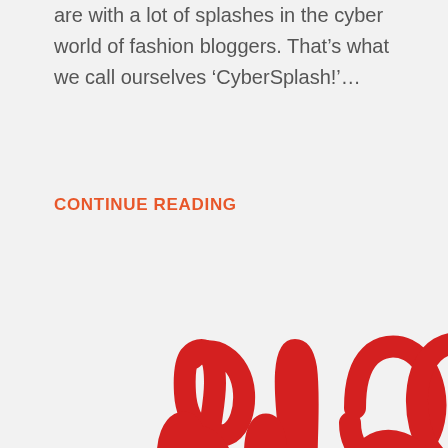are with a lot of splashes in the cyber world of fashion bloggers. That’s what we call ourselves ‘CyberSplash!’…
CONTINUE READING
[Figure (illustration): Large red handwritten/brush-style letters spelling 'blog' partially visible in the bottom-right corner of the page, cropped so only parts of the letters are shown.]